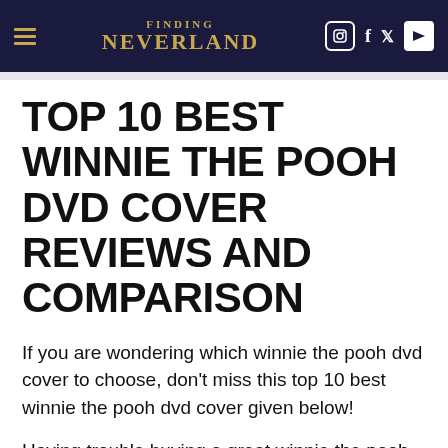FINDING NEVERLAND
TOP 10 BEST WINNIE THE POOH DVD COVER REVIEWS AND COMPARISON
If you are wondering which winnie the pooh dvd cover to choose, don't miss this top 10 best winnie the pooh dvd cover given below!
Having trouble buying a great winnie the pooh dvd cover? We understand this problem because we have gone through the entire